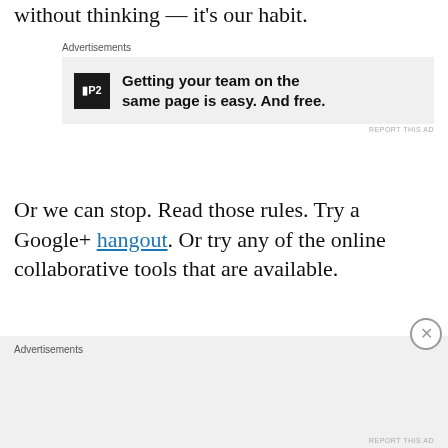without thinking — it's our habit.
[Figure (other): Advertisement banner for P2 with text: Getting your team on the same page is easy. And free.]
Or we can stop. Read those rules. Try a Google+ hangout. Or try any of the online collaborative tools that are available.
And do something more interesting with the time we saved.
[Figure (other): Advertisements placeholder block]
[Figure (other): Advertisements bottom bar with REPORT THIS AD]